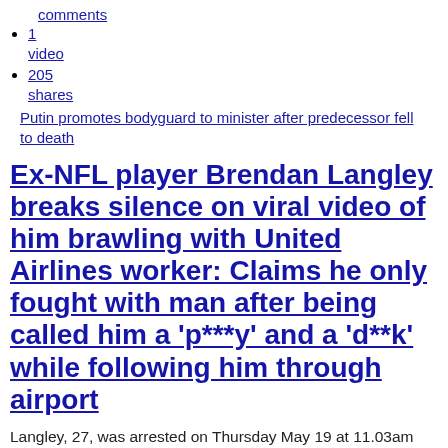comments
1
video
205
shares
Putin promotes bodyguard to minister after predecessor fell to death
Ex-NFL player Brendan Langley breaks silence on viral video of him brawling with United Airlines worker: Claims he only fought with man after being called him a 'p***y' and a 'd**k' while following him through airport
Langley, 27, was arrested on Thursday May 19 at 11.03am after trading blows with the unnamed United Airlines worker. Videos show the pair sparring and all of the footage that has been released so far shows the airline worker throwing the first punch. Langley's attorney told TMZ Tuesday that the worker not only harassed him, but called him a d**k and a p***y. In addition, attorney Alan Jackson says the employee started the fight and his client was